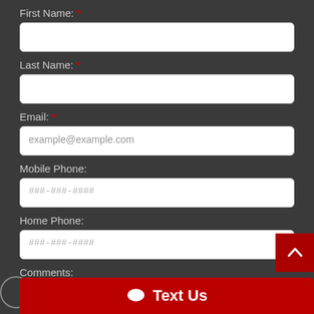First Name: *
Last Name: *
Email: *
example@example.com
Mobile Phone:
###-###-####
Home Phone:
###-###-####
Comments:
Text Us